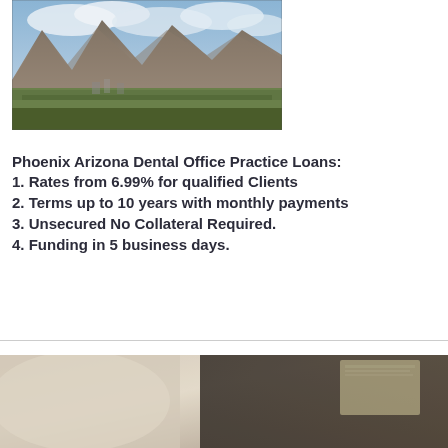[Figure (photo): Aerial/elevated view of a city with mountains in the background under a cloudy sky, likely Phoenix or Salt Lake City area.]
Phoenix Arizona Dental Office Practice Loans:
1. Rates from 6.99% for qualified Clients
2. Terms up to 10 years with monthly payments
3. Unsecured No Collateral Required.
4. Funding in 5 business days.
[Figure (photo): Close-up blurred photo of a desk or office surface with papers, dark background, warm tones.]